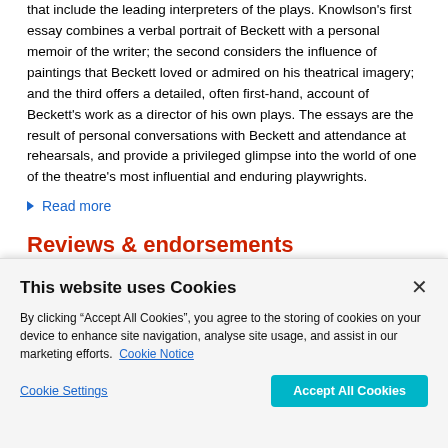that include the leading interpreters of the plays. Knowlson's first essay combines a verbal portrait of Beckett with a personal memoir of the writer; the second considers the influence of paintings that Beckett loved or admired on his theatrical imagery; and the third offers a detailed, often first-hand, account of Beckett's work as a director of his own plays. The essays are the result of personal conversations with Beckett and attendance at rehearsals, and provide a privileged glimpse into the world of one of the theatre's most influential and enduring playwrights.
Read more
Reviews & endorsements
'... these theatre photos are among the most resonant of the past
This website uses Cookies
By clicking “Accept All Cookies”, you agree to the storing of cookies on your device to enhance site navigation, analyse site usage, and assist in our marketing efforts.  Cookie Notice
Cookie Settings
Accept All Cookies